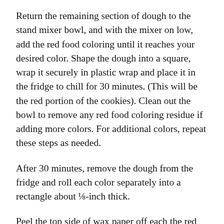Return the remaining section of dough to the stand mixer bowl, and with the mixer on low, add the red food coloring until it reaches your desired color. Shape the dough into a square, wrap it securely in plastic wrap and place it in the fridge to chill for 30 minutes. (This will be the red portion of the cookies). Clean out the bowl to remove any red food coloring residue if adding more colors. For additional colors, repeat these steps as needed.
After 30 minutes, remove the dough from the fridge and roll each color separately into a rectangle about ⅛-inch thick.
Peel the top side of wax paper off each the red dough and the white dough, then sandwich the two layers together. If using more than two colors, repeat the layering process with each color. Cut the sandwiched layers in half, creating two rectangles.